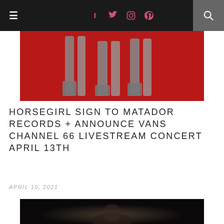Navigation bar with hamburger menu, social icons (f, Twitter, Instagram, Pinterest), and search
[Figure (photo): Top portion of album/band artwork showing legs against a red background]
HORSEGIRL SIGN TO MATADOR RECORDS + ANNOUNCE VANS CHANNEL 66 LIVESTREAM CONCERT APRIL 13TH
APRIL 10, 2021
[Figure (photo): Black and white portrait photo of a young woman looking to the side, dark background]